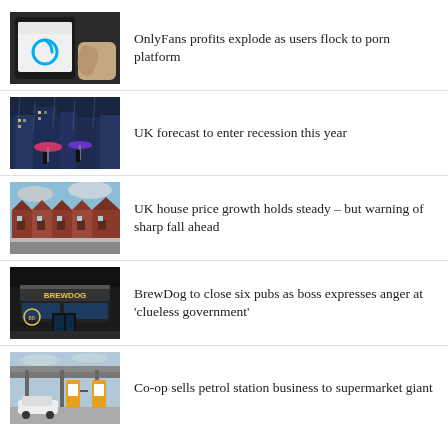[Figure (photo): Phone screen showing OnlyFans app logo]
OnlyFans profits explode as users flock to porn platform
[Figure (photo): Rainy street scene with people holding umbrellas at night]
UK forecast to enter recession this year
[Figure (photo): Row of red brick terraced houses on a street]
UK house price growth holds steady – but warning of sharp fall ahead
[Figure (photo): BrewDog pub storefront at night]
BrewDog to close six pubs as boss expresses anger at 'clueless government'
[Figure (photo): Petrol station forecourt with cars]
Co-op sells petrol station business to supermarket giant